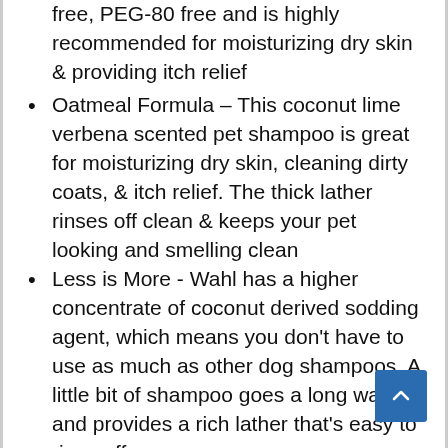free, PEG-80 free and is highly recommended for moisturizing dry skin & providing itch relief
Oatmeal Formula – This coconut lime verbena scented pet shampoo is great for moisturizing dry skin, cleaning dirty coats, & itch relief. The thick lather rinses off clean & keeps your pet looking and smelling clean
Less is More - Wahl has a higher concentrate of coconut derived sodding agent, which means you don't have to use as much as other dog shampoos. A little bit of shampoo goes a long way and provides a rich lather that's easy to rinse off
Allergy Friendly - Our dog icon, Rocket, was designed in the image of our family dog Cooper – a golden doodle, who has severe allergies. This is the only shampoo we have found safe and effective. He loves the smell too!